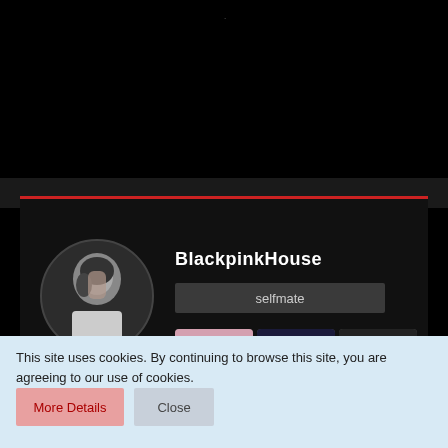[Figure (screenshot): YouTube-like channel profile page with black background showing channel named BlackpinkHouse with selfmate button, circular avatar of a person, and a grid of 5 K-pop related thumbnail images, plus navigation arrows]
BlackpinkHouse
selfmate
This site uses cookies. By continuing to browse this site, you are agreeing to our use of cookies.
More Details
Close